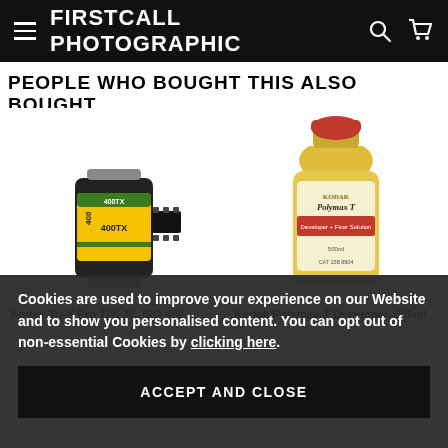FIRSTCALL PHOTOGRAPHIC
PEOPLE WHO BOUGHT THIS ALSO BOUGHT...
[Figure (photo): Kodak Tri-X Pro 135-36 ISO 400 film roll on white background]
[Figure (photo): Kodak Polymax T Developer bottle with yellow label and red cap]
Kodak Tri-X Pro 135-36, ISO 400
Kodak Polymax T Developer, 500ml
Cookies are used to improve your experience on our Website and to show you personalised content. You can opt out of non-essential Cookies by clicking here.
ACCEPT AND CLOSE